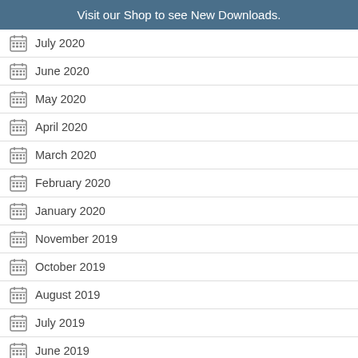Visit our Shop to see New Downloads.
July 2020
June 2020
May 2020
April 2020
March 2020
February 2020
January 2020
November 2019
October 2019
August 2019
July 2019
June 2019
May 2019
April 2019